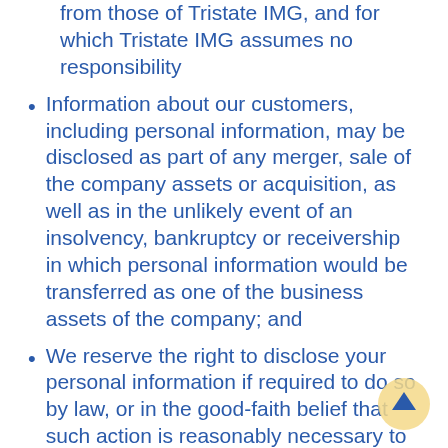from those of Tristate IMG, and for which Tristate IMG assumes no responsibility
Information about our customers, including personal information, may be disclosed as part of any merger, sale of the company assets or acquisition, as well as in the unlikely event of an insolvency, bankruptcy or receivership in which personal information would be transferred as one of the business assets of the company; and
We reserve the right to disclose your personal information if required to do so by law, or in the good-faith belief that such action is reasonably necessary to comply with legal process, respond to claims or protect the rights, property or safety of our company, employees, customers or the public.
What We Collect and Where